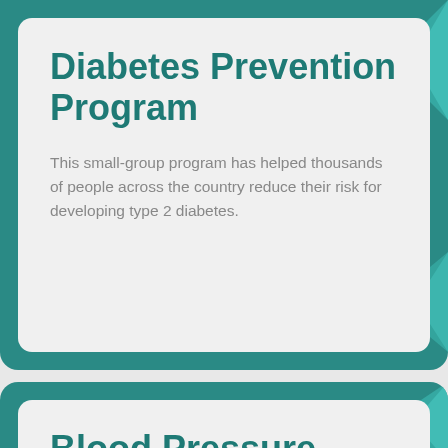Diabetes Prevention Program
This small-group program has helped thousands of people across the country reduce their risk for developing type 2 diabetes.
Blood Pressure Self-Monitoring